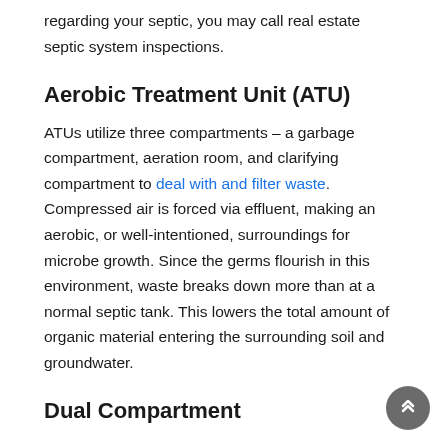regarding your septic, you may call real estate septic system inspections.
Aerobic Treatment Unit (ATU)
ATUs utilize three compartments – a garbage compartment, aeration room, and clarifying compartment to deal with and filter waste. Compressed air is forced via effluent, making an aerobic, or well-intentioned, surroundings for microbe growth. Since the germs flourish in this environment, waste breaks down more than at a normal septic tank. This lowers the total amount of organic material entering the surrounding soil and groundwater.
Dual Compartment